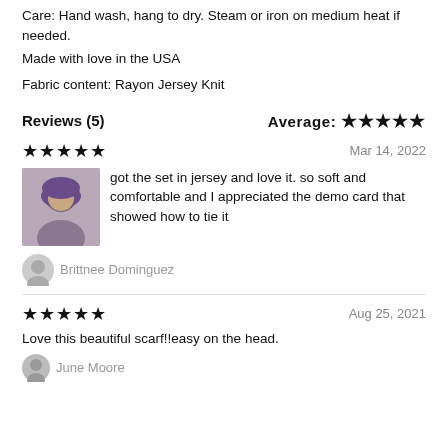Care: Hand wash, hang to dry. Steam or iron on medium heat if needed.
Made with love in the USA
Fabric content: Rayon Jersey Knit
Reviews (5)   Average: ★★★★★
★★★★★   Mar 14, 2022
got the set in jersey and love it. so soft and comfortable and I appreciated the demo card that showed how to tie it
Brittnee Dominguez
★★★★★   Aug 25, 2021
Love this beautiful scarf!!easy on the head.
June Moore